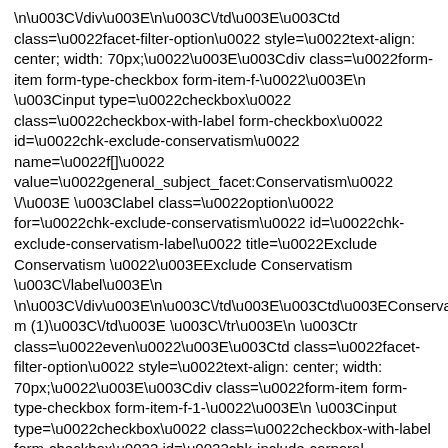\u003C\/div\u003E\n\u003C\/td\u003E\u003Ctd class=\u0022facet-filter-option\u0022 style=\u0022text-align: center; width: 70px;\u0022\u003E\u003Cdiv class=\u0022form-item form-type-checkbox form-item-f-\u0022\u003E\n \u003Cinput type=\u0022checkbox\u0022 class=\u0022checkbox-with-label form-checkbox\u0022 id=\u0022chk-exclude-conservatism\u0022 name=\u0022f[]\u0022 value=\u0022general_subject_facet:Conservatism\u0022 \/\u003E \u003Clabel class=\u0022option\u0022 for=\u0022chk-exclude-conservatism\u0022 id=\u0022chk-exclude-conservatism-label\u0022 title=\u0022Exclude Conservatism \u0022\u003EExclude Conservatism \u003C\/label\u003E\n \n\u003C\/div\u003E\n\u003C\/td\u003E\u003Ctd\u003EConservatism (1)\u003C\/td\u003E \u003C\/tr\u003E\n \u003Ctr class=\u0022even\u0022\u003E\u003Ctd class=\u0022facet-filter-option\u0022 style=\u0022text-align: center; width: 70px;\u0022\u003E\u003Cdiv class=\u0022form-item form-type-checkbox form-item-f-1-\u0022\u003E\n \u003Cinput type=\u0022checkbox\u0022 class=\u0022checkbox-with-label form-checkbox\u0022 id=\u0022chk-include-corporal-punishment\u0022 name=\u0022f[1][]\u0022 value=\u0022general_subject_facet:Corporal punishment\u0022 \/\u003E \u003Clabel class=\u0022option\u0022 for=\u0022chk-include-corporal-punishment\u0022 id=\u0022chk-include-corporal-punishment-label\u0022 title=\u0022Include Corporal punishment\u0022\u003EInclude Corporal punishment\u003C